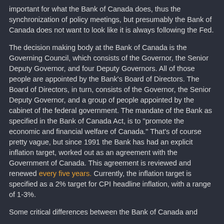important for what the Bank of Canada does, thus the synchronization of policy meetings, but presumably the Bank of Canada does not want to look like it is always following the Fed.
The decision making body at the Bank of Canada is the Governing Council, which consists of the Governor, the Senior Deputy Governor, and four Deputy Governors. All of those people are appointed by the Bank's Board of Directors. The Board of Directors, in turn, consists of the Governor, the Senior Deputy Governor, and a group of people appointed by the cabinet of the federal government. The mandate of the Bank as specified in the Bank of Canada Act, is to "promote the economic and financial welfare of Canada." That's of course pretty vague, but since 1991 the Bank has had an explicit inflation target, worked out as an agreement with the Government of Canada. This agreement is reviewed and renewed every five years. Currently, the inflation target is specified as a 2% target for CPI headline inflation, with a range of 1-3%.
Some critical differences between the Bank of Canada and